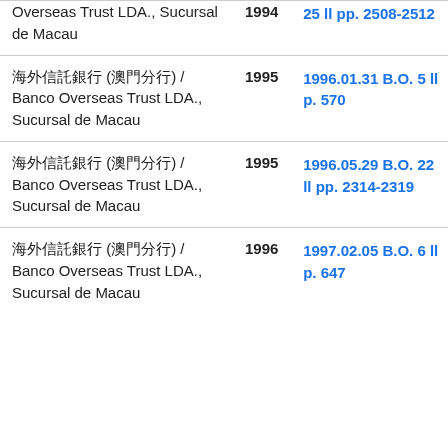| Name | Year | Reference |
| --- | --- | --- |
| 海外信託銀行 (澳門分行) / Banco Overseas Trust LDA., Sucursal de Macau | 1994 | 25 ll pp. 2508-2512 |
| 海外信託銀行 (澳門分行) / Banco Overseas Trust LDA., Sucursal de Macau | 1995 | 1996.01.31 B.O. 5 ll p. 570 |
| 海外信託銀行 (澳門分行) / Banco Overseas Trust LDA., Sucursal de Macau | 1995 | 1996.05.29 B.O. 22 ll pp. 2314-2319 |
| 海外信託銀行 (澳門分行) / Banco Overseas Trust LDA., Sucursal de Macau | 1996 | 1997.02.05 B.O. 6 ll p. 647 |